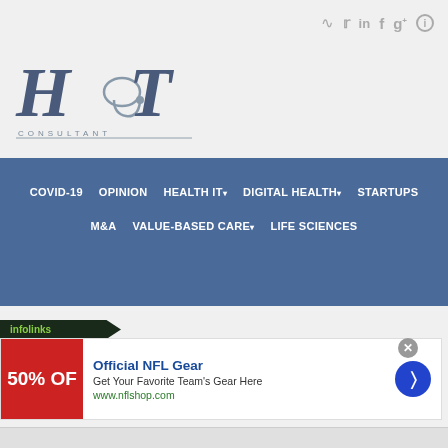[Figure (logo): HIT Consultant logo with stylized H, stethoscope, T letters and CONSULTANT text below]
Social icons: RSS, Twitter, LinkedIn, Facebook, Google+, Info
COVID-19   OPINION   HEALTH IT▾   DIGITAL HEALTH▾   STARTUPS   M&A   VALUE-BASED CARE▾   LIFE SCIENCES
[Figure (screenshot): Infolinks advertisement banner: Official NFL Gear - Get Your Favorite Team's Gear Here - www.nflshop.com - with red image showing 50% OFF and blue arrow button]